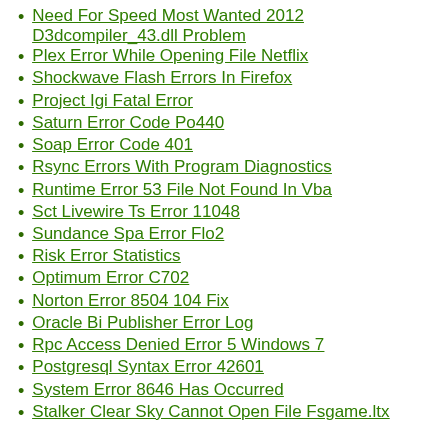Need For Speed Most Wanted 2012 D3dcompiler_43.dll Problem
Plex Error While Opening File Netflix
Shockwave Flash Errors In Firefox
Project Igi Fatal Error
Saturn Error Code Po440
Soap Error Code 401
Rsync Errors With Program Diagnostics
Runtime Error 53 File Not Found In Vba
Sct Livewire Ts Error 11048
Sundance Spa Error Flo2
Risk Error Statistics
Optimum Error C702
Norton Error 8504 104 Fix
Oracle Bi Publisher Error Log
Rpc Access Denied Error 5 Windows 7
Postgresql Syntax Error 42601
System Error 8646 Has Occurred
Stalker Clear Sky Cannot Open File Fsgame.ltx